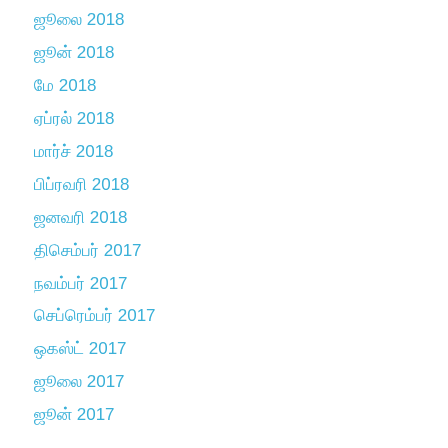ஜூலை 2018
ஜூன் 2018
மே 2018
ஏப்ரல் 2018
மார்ச் 2018
பிப்ரவரி 2018
ஜனவரி 2018
திசெம்பர் 2017
நவம்பர் 2017
செப்ரெம்பர் 2017
ஒகஸ்ட் 2017
ஜூலை 2017
ஜூன் 2017